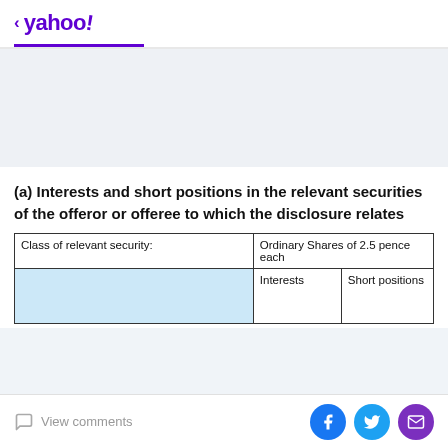< yahoo!
(a) Interests and short positions in the relevant securities of the offeror or offeree to which the disclosure relates
| Class of relevant security: | Ordinary Shares of 2.5 pence each |  |
| --- | --- | --- |
|  | Interests | Short positions |
View comments